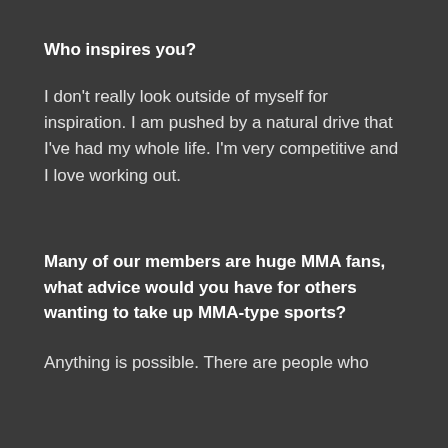Who inspires you?
I don't really look outside of myself for inspiration. I am pushed by a natural drive that I've had my whole life. I'm very competitive and I love working out.
Many of our members are huge MMA fans, what advice would you have for others wanting to take up MMA-type sports?
Anything is possible. There are people who